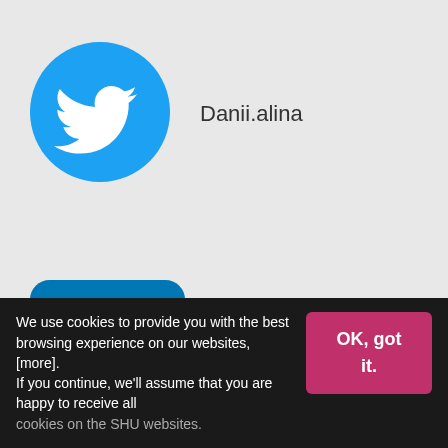[Figure (logo): Twitter bird logo in blue]
Danii.alina
[Figure (logo): LinkedIn icon, blue square with 'in' in white]
Daniela Baicoianu
Written by Daniela Baicoianu #HallamInsider
We use cookies to provide you with the best browsing experience on our websites, [more]. If you continue, we'll assume that you are happy to receive all cookies on the SHU websites.